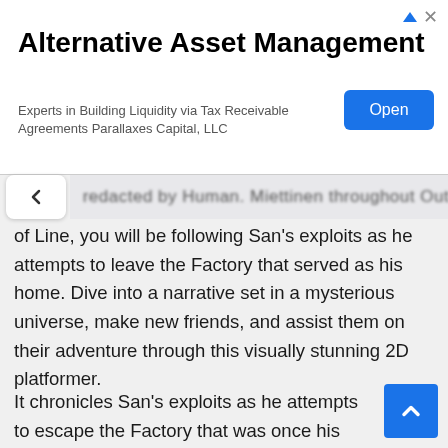[Figure (screenshot): Advertisement banner: Alternative Asset Management. Experts in Building Liquidity via Tax Receivable Agreements Parallaxes Capital, LLC. Blue Open button on right. Ad icons top right.]
of Line, you will be following San's exploits as he attempts to leave the Factory that served as his home. Dive into a narrative set in a mysterious universe, make new friends, and assist them on their adventure through this visually stunning 2D platformer.
It chronicles San's exploits as he attempts to escape the Factory that was once his home. Dive into a narrative that takes place in a strange realm that is revealed over the course of several chapters. With artistically designed game experience, you may create